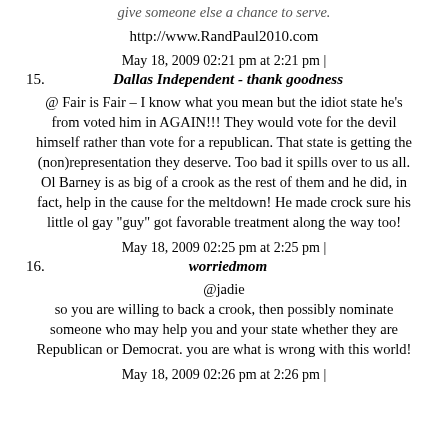give someone else a chance to serve.
http://www.RandPaul2010.com
May 18, 2009 02:21 pm at 2:21 pm |
15. Dallas Independent - thank goodness
@ Fair is Fair – I know what you mean but the idiot state he's from voted him in AGAIN!!! They would vote for the devil himself rather than vote for a republican. That state is getting the (non)representation they deserve. Too bad it spills over to us all. Ol Barney is as big of a crook as the rest of them and he did, in fact, help in the cause for the meltdown! He made crock sure his little ol gay "guy" got favorable treatment along the way too!
May 18, 2009 02:25 pm at 2:25 pm |
16. worriedmom
@jadie
so you are willing to back a crook, then possibly nominate someone who may help you and your state whether they are Republican or Democrat. you are what is wrong with this world!
May 18, 2009 02:26 pm at 2:26 pm |